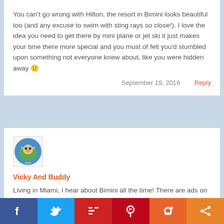You can't go wrong with Hilton, the resort in Bimini looks beautiful too (and any excuse to swim with sting rays so close!). I love the idea you need to get there by mini plane or jet ski it just makes your time there more special and you must of felt you'd stumbled upon something not everyone knew about, like you were hidden away 🙂
September 19, 2016    Reply
[Figure (logo): Circular logo with a monkey and globe, labeled 'Vicky And Buddy']
Vicky And Buddy
Living in Miami, I hear about Bimini all the time! There are ads on billboards and on the radio. I've been wanting to go for awhile but didn't know anyone that had gone. Now that I know how awesome it is I definitely need to book a trip!
Facebook Twitter Mix Pinterest Reddit Share